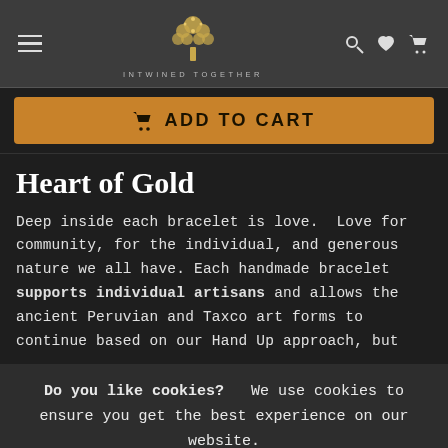INTWINED TOGETHER — navigation header with hamburger menu, logo, search, wishlist, cart icons
ADD TO CART
Heart of Gold
Deep inside each bracelet is love.  Love for community, for the individual, and generous nature we all have. Each handmade bracelet supports individual artisans and allows the ancient Peruvian and Taxco art forms to continue based on our Hand Up approach, but
Do you like cookies?   We use cookies to ensure you get the best experience on our website.
I agree
×
Each Handwoven design is what makes us unique.